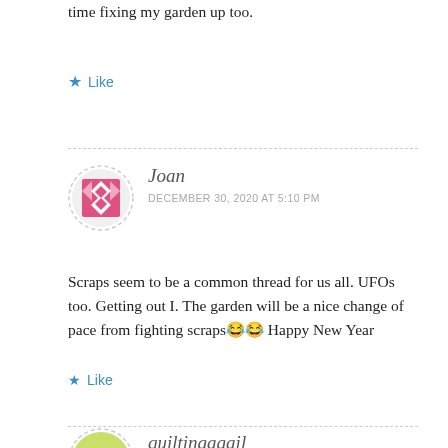time fixing my garden up too.
Like
Joan
DECEMBER 30, 2020 AT 5:10 PM
Scraps seem to be a common thread for us all. UFOs too. Getting out I. The garden will be a nice change of pace from fighting scraps😂😂 Happy New Year
Like
quiltingagail